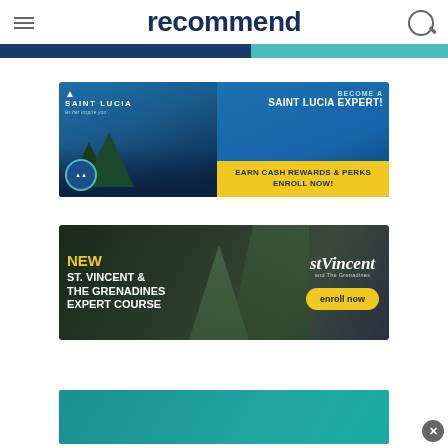recommend
[Figure (illustration): Saint Lucia tourism ad banner: blue scenic background with mountains and ocean, Saint Lucia logo on left, text 'BECOME A SAINT LUCIA EXPERT! EARN CASH REWARDS & PERKS ENROLL NOW!' on right with yellow CTA bar]
[Figure (illustration): St. Vincent & The Grenadines expert course ad banner: dark rocky island background, text 'NEW ST. VINCENT & THE GRENADINES EXPERT COURSE' on left, St. Vincent logo and yellow 'enroll now' oval button on right]
[Figure (illustration): Third advertisement banner partially visible at bottom, teal/turquoise colored background]